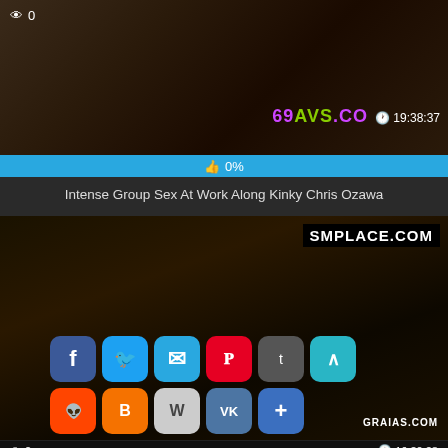[Figure (screenshot): Video thumbnail showing adult content with 69AVS.COM watermark, view count 0, duration 19:38:37, and 0% like bar]
Intense Group Sex At Work Along Kinky Chris Ozawa
[Figure (screenshot): Video thumbnail with SMPLACE.COM watermark, social sharing buttons (Facebook, Twitter, Mail, Pinterest, Tumblr, scroll-up, Reddit, Blogger, WordPress, VK, Add), GRAIAS.COM badge, and partial footer showing view count 2 and duration 16:20:28]